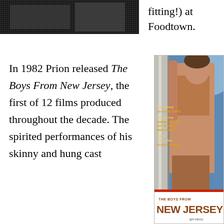[Figure (photo): Black and white photo at top left of page]
fitting!) at Foodtown.
In 1982 Prion released The Boys From New Jersey, the first of 12 films produced throughout the decade. The spirited performances of his skinny and hung cast
[Figure (photo): Cover image of the film 'The Boys From New Jersey' showing a man standing in a doorway. Text on cover reads: Introducing JO-JO BILLIARDS, Co-Starring VINNIE FALCONE, RAY TITMORE, MIKE JAMES, Special Guest Star SCOTTY THOMAS. THE BOYS FROM NEW JERSEY. BERT PRION.]